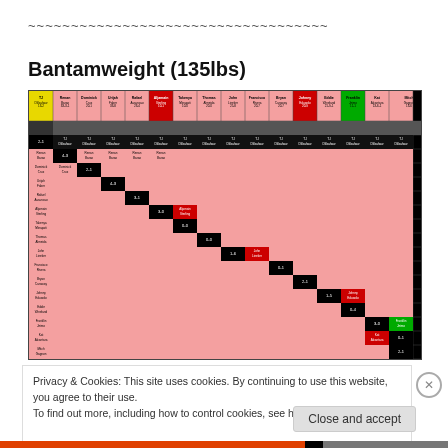~~~~~~~~~~~~~~~~~~~~~~~~~~~~~~~~~~~
Bantamweight (135lbs)
[Figure (table-as-image): UFC Bantamweight (135lbs) fighter ranking grid showing head-to-head matchup results between ranked fighters. Color-coded cells indicate fight outcomes (green=win, red=loss, pink=loss, black=no contest). Fighters listed across top and left side include TJ Dillashaw, Renan Barao, Dominick Cruz, Urijah Faber, Rafael Assuncao, Aljamain Sterling, Takenya Minapati, Thomas Almeida, John Lineker, Francisco Rivera, Bryan Caraway, Johnny Eduardo, Eddie Wineland, Franklin Jeimo, Kat Alcantara, Mitch Gagnon.]
Privacy & Cookies: This site uses cookies. By continuing to use this website, you agree to their use.
To find out more, including how to control cookies, see here: Cookie Policy
Close and accept